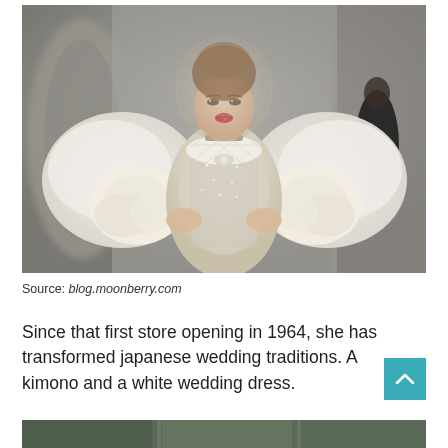[Figure (photo): A model on a runway wearing an elaborate bridal outfit: heavily beaded/crystal-encrusted strapless gown, voluminous white fur stole with large oversized fabric roses, and a birdcage veil headpiece. Background is blurred showing ornate decor and another figure in black.]
Source: blog.moonberry.com
Since that first store opening in 1964, she has transformed japanese wedding traditions. A kimono and a white wedding dress.